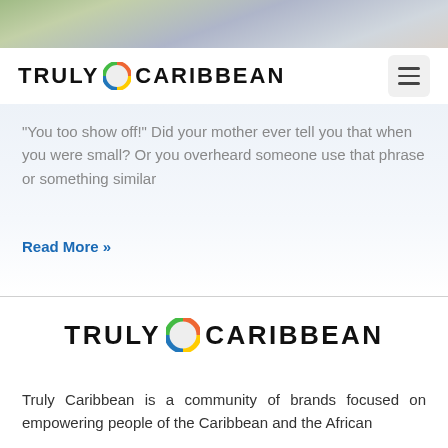[Figure (screenshot): Photo strip of people at the top of the page, blurred/cropped]
[Figure (logo): TRULY CARIBBEAN logo with colorful globe icon in navigation bar]
"You too show off!" Did your mother ever tell you that when you were small? Or you overheard someone use that phrase or something similar
Read More »
[Figure (logo): TRULY CARIBBEAN logo with colorful globe icon, large centered]
Truly Caribbean is a community of brands focused on empowering people of the Caribbean and the African